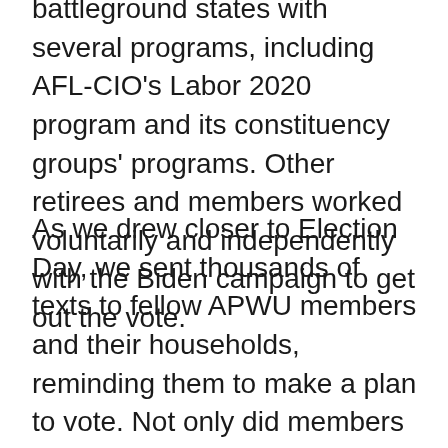battleground states with several programs, including AFL-CIO's Labor 2020 program and its constituency groups' programs. Other retirees and members worked voluntarily and independently with the Biden campaign to get out the vote.
As we drew closer to Election Day, we sent thousands of texts to fellow APWU members and their households, reminding them to make a plan to vote. Not only did members make calls and send texts, but they also volunteered to become election workers to ensure a safe and fair election for voters.